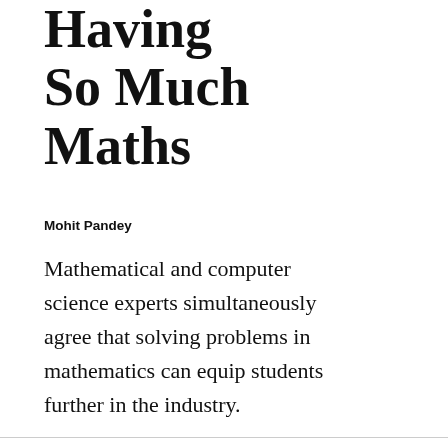Having So Much Maths
Mohit Pandey
Mathematical and computer science experts simultaneously agree that solving problems in mathematics can equip students further in the industry.